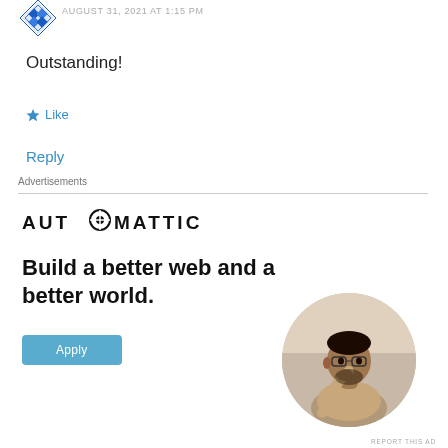AUGUST 31, 2021 AT 1:15 PM
Outstanding!
Like
Reply
Advertisements
[Figure (logo): Automattic logo with stylized compass/target O symbol]
Build a better web and a better world.
Apply
[Figure (photo): Circular cropped photo of a man thinking with hand on chin, sitting at a desk]
REPORT THIS AD